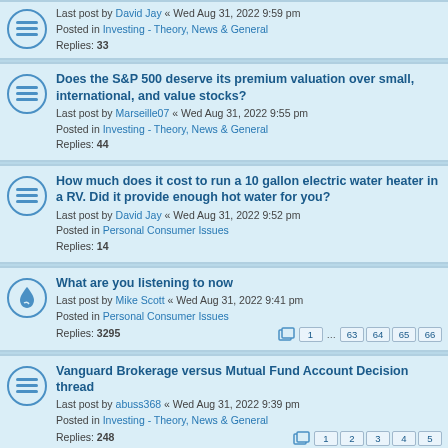Last post by David Jay « Wed Aug 31, 2022 9:59 pm
Posted in Investing - Theory, News & General
Replies: 33
Does the S&P 500 deserve its premium valuation over small, international, and value stocks?
Last post by Marseille07 « Wed Aug 31, 2022 9:55 pm
Posted in Investing - Theory, News & General
Replies: 44
How much does it cost to run a 10 gallon electric water heater in a RV. Did it provide enough hot water for you?
Last post by David Jay « Wed Aug 31, 2022 9:52 pm
Posted in Personal Consumer Issues
Replies: 14
What are you listening to now
Last post by Mike Scott « Wed Aug 31, 2022 9:41 pm
Posted in Personal Consumer Issues
Replies: 3295
Vanguard Brokerage versus Mutual Fund Account Decision thread
Last post by abuss368 « Wed Aug 31, 2022 9:39 pm
Posted in Investing - Theory, News & General
Replies: 248
What Movie Have You Recently Watched?
Last post by abuss368 « Wed Aug 31, 2022 9:24 pm
Posted in Personal Consumer Issues
Replies: 8698
Box Spreads as Loans - Interactive Brokers IBKR - 2021
Last post by adambo « Wed Aug 31, 2022 9:20 pm